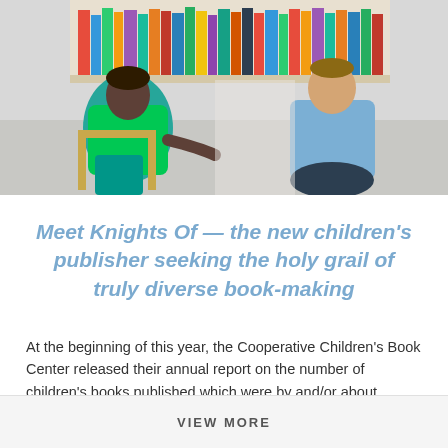[Figure (photo): Two people seated — a woman in bright green clothing on the left and a man in a blue shirt on the right — in front of a bookshelf filled with colorful books.]
Meet Knights Of — the new children's publisher seeking the holy grail of truly diverse book-making
At the beginning of this year, the Cooperative Children's Book Center released their annual report on the number of children's books published which were by and/or about people of colour. The good news was that last year saw a record number of diverse books published (a still low 28%, mind you). The bad news was that […]
VIEW MORE